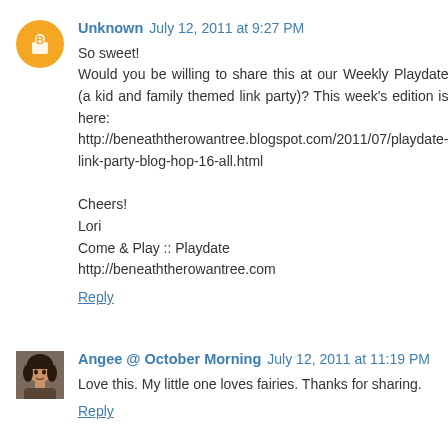Unknown July 12, 2011 at 9:27 PM
So sweet!
Would you be willing to share this at our Weekly Playdate (a kid and family themed link party)? This week's edition is here:
http://beneaththerowantree.blogspot.com/2011/07/playdate-link-party-blog-hop-16-all.html

Cheers!
Lori
Come & Play :: Playdate
http://beneaththerowantree.com
Reply
Angee @ October Morning July 12, 2011 at 11:19 PM
Love this. My little one loves fairies. Thanks for sharing.
Reply